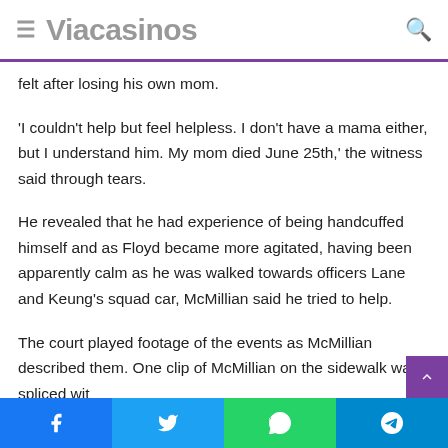Viacasinos
felt after losing his own mom.
'I couldn't help but feel helpless. I don't have a mama either, but I understand him. My mom died June 25th,' the witness said through tears.
He revealed that he had experience of being handcuffed himself and as Floyd became more agitated, having been apparently calm as he was walked towards officers Lane and Keung's squad car, McMillian said he tried to help.
The court played footage of the events as McMillian described them. One clip of McMillian on the sidewalk was spliced wit